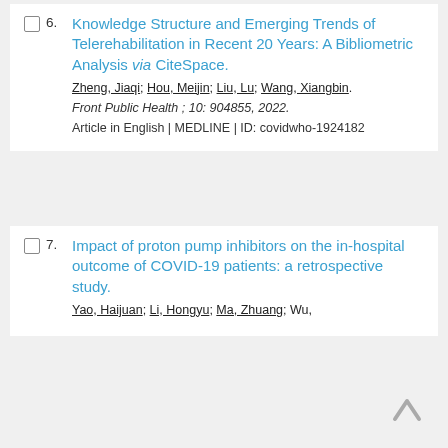6. Knowledge Structure and Emerging Trends of Telerehabilitation in Recent 20 Years: A Bibliometric Analysis via CiteSpace. Zheng, Jiaqi; Hou, Meijin; Liu, Lu; Wang, Xiangbin. Front Public Health ; 10: 904855, 2022. Article in English | MEDLINE | ID: covidwho-1924182
7. Impact of proton pump inhibitors on the in-hospital outcome of COVID-19 patients: a retrospective study. Yao, Haijuan; Li, Hongyu; Ma, Zhuang; Wu,